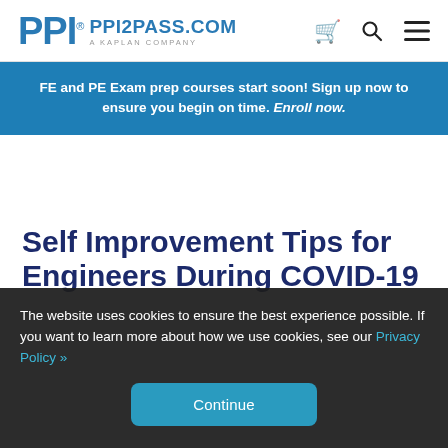PPI® PPI2PASS.COM A KAPLAN COMPANY
FE and PE Exam prep courses start soon! Sign up now to ensure you begin on time. Enroll now.
Self Improvement Tips for Engineers During COVID-19
The website uses cookies to ensure the best experience possible. If you want to learn more about how we use cookies, see our Privacy Policy »
Continue